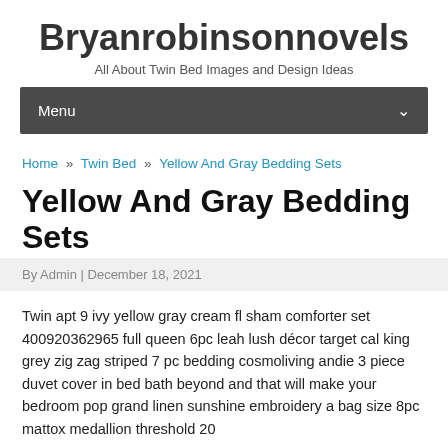Bryanrobinsonnovels
All About Twin Bed Images and Design Ideas
Menu
Home » Twin Bed » Yellow And Gray Bedding Sets
Yellow And Gray Bedding Sets
By Admin | December 18, 2021
Twin apt 9 ivy yellow gray cream fl sham comforter set 400920362965 full queen 6pc leah lush décor target cal king grey zig zag striped 7 pc bedding cosmoliving andie 3 piece duvet cover in bed bath beyond and that will make your bedroom pop grand linen sunshine embroidery a bag size 8pc mattox medallion threshold 20